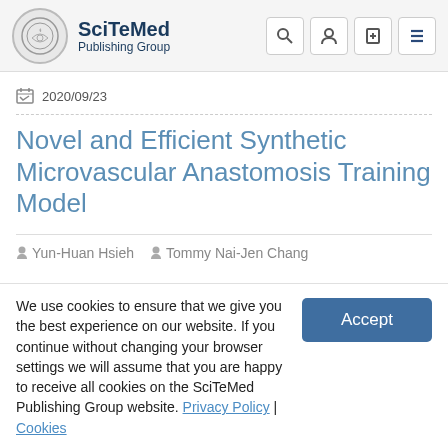SciTeMed Publishing Group
2020/09/23
Novel and Efficient Synthetic Microvascular Anastomosis Training Model
Yun-Huan Hsieh   Tommy Nai-Jen Chang
We use cookies to ensure that we give you the best experience on our website. If you continue without changing your browser settings we will assume that you are happy to receive all cookies on the SciTeMed Publishing Group website. Privacy Policy | Cookies